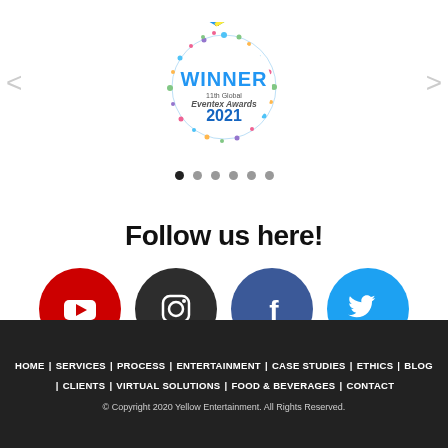[Figure (logo): Award badge: WINNER 11th Global Eventex Awards 2021 with colorful confetti circle]
[Figure (infographic): Carousel navigation dots - 6 dots, first one active/dark]
Follow us here!
[Figure (infographic): Four social media icons: YouTube (red circle with play button), Instagram (dark grey circle with camera icon), Facebook (blue circle with f logo), Twitter (blue circle with bird icon)]
HOME | SERVICES | PROCESS | ENTERTAINMENT | CASE STUDIES | ETHICS | BLOG | CLIENTS | VIRTUAL SOLUTIONS | FOOD & BEVERAGES | CONTACT
© Copyright 2020 Yellow Entertainment. All Rights Reserved.